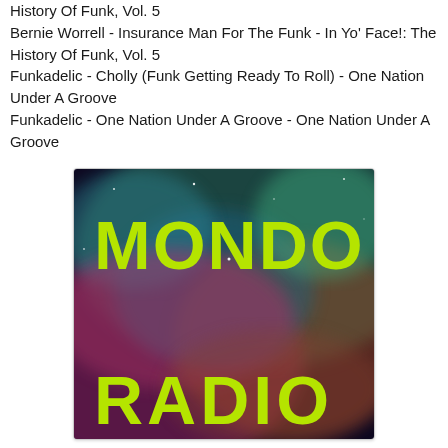History Of Funk, Vol. 5
Bernie Worrell - Insurance Man For The Funk - In Yo' Face!: The History Of Funk, Vol. 5
Funkadelic - Cholly (Funk Getting Ready To Roll) - One Nation Under A Groove
Funkadelic - One Nation Under A Groove - One Nation Under A Groove
[Figure (illustration): Mondo Radio logo image — colorful nebula/galaxy background with bright yellow-green bold text reading MONDO on top and RADIO on bottom]